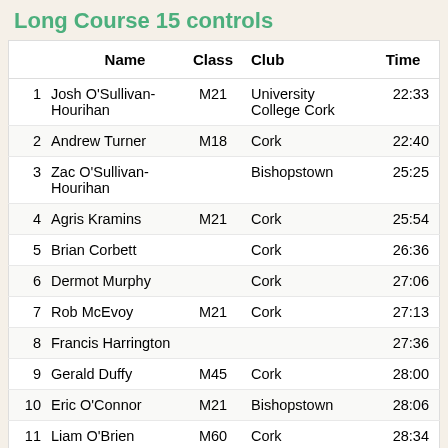Long Course 15 controls
|  | Name | Class | Club | Time |
| --- | --- | --- | --- | --- |
| 1 | Josh O'Sullivan-Hourihan | M21 | University College Cork | 22:33 |
| 2 | Andrew Turner | M18 | Cork | 22:40 |
| 3 | Zac O'Sullivan-Hourihan |  | Bishopstown | 25:25 |
| 4 | Agris Kramins | M21 | Cork | 25:54 |
| 5 | Brian Corbett |  | Cork | 26:36 |
| 6 | Dermot Murphy |  | Cork | 27:06 |
| 7 | Rob McEvoy | M21 | Cork | 27:13 |
| 8 | Francis Harrington |  |  | 27:36 |
| 9 | Gerald Duffy | M45 | Cork | 28:00 |
| 10 | Eric O'Connor | M21 | Bishopstown | 28:06 |
| 11 | Liam O'Brien | M60 | Cork | 28:34 |
| 12 | Dan McDonnell | M16 | Cork | 28:43 |
| 13 | Joe Bosonnet | M14 | Cork | 29:23 |
| 14 | Gary O'Donovan |  |  | 29:55 |
| 15 | Jens Waechter | M40 |  | 30:03 |
| 16 | Ken O'Neill |  |  | 30:31 |